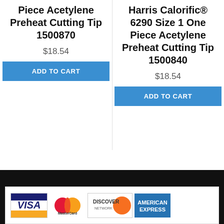Piece Acetylene Preheat Cutting Tip 1500870
$18.54
ADD TO CART
Harris Calorific® 6290 Size 1 One Piece Acetylene Preheat Cutting Tip 1500840
$18.54
ADD TO CART
[Figure (illustration): Payment method logos: Visa, MasterCard, Discover Network, American Express]